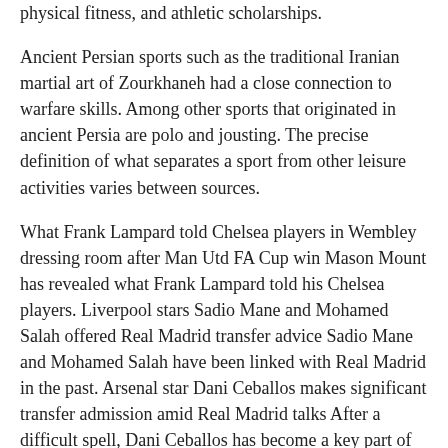physical fitness, and athletic scholarships.
Ancient Persian sports such as the traditional Iranian martial art of Zourkhaneh had a close connection to warfare skills. Among other sports that originated in ancient Persia are polo and jousting. The precise definition of what separates a sport from other leisure activities varies between sources.
What Frank Lampard told Chelsea players in Wembley dressing room after Man Utd FA Cup win Mason Mount has revealed what Frank Lampard told his Chelsea players. Liverpool stars Sadio Mane and Mohamed Salah offered Real Madrid transfer advice Sadio Mane and Mohamed Salah have been linked with Real Madrid in the past. Arsenal star Dani Ceballos makes significant transfer admission amid Real Madrid talks After a difficult spell, Dani Ceballos has become a key part of Arsenal’s midfield. Leeds boss Bielsa urged to seal transfer for ‘perfect’ Liverpool star with ‘great energy’ Leeds have been recommended Liverpool's Adam Lallana as a free transfer this summer.